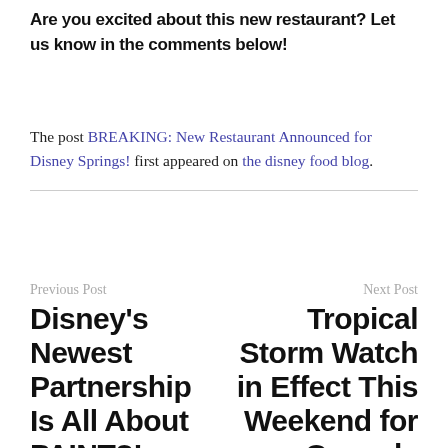Are you excited about this new restaurant? Let us know in the comments below!
The post BREAKING: New Restaurant Announced for Disney Springs! first appeared on the disney food blog.
Previous Post
Disney's Newest Partnership Is All About PAINT?!
Next Post
Tropical Storm Watch in Effect This Weekend for Osceola